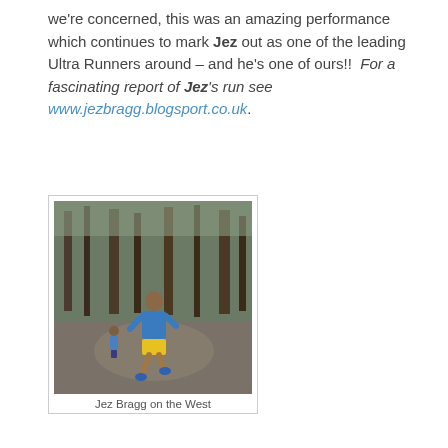we're concerned, this was an amazing performance which continues to mark Jez out as one of the leading Ultra Runners around – and he's one of ours!!  For a fascinating report of Jez's run see www.jezbragg.blogsport.co.uk.
[Figure (photo): A runner wearing a blue top and yellow shorts running on a forest path, with other runners visible in the background among trees.]
Jez Bragg on the West